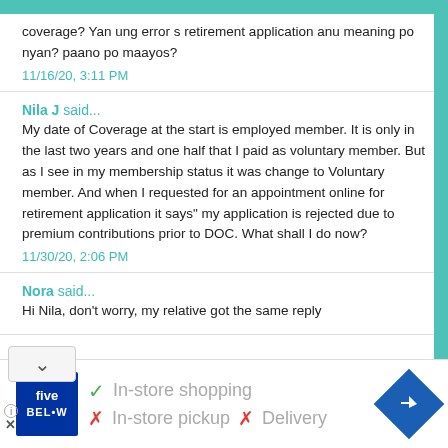coverage? Yan ung error s retirement application anu meaning po nyan? paano po maayos?
11/16/20, 3:11 PM
Nila J said...
My date of Coverage at the start is employed member. It is only in the last two years and one half that I paid as voluntary member. But as I see in my membership status it was change to Voluntary member. And when I requested for an appointment online for retirement application it says" my application is rejected due to premium contributions prior to DOC. What shall I do now?
11/30/20, 2:06 PM
Nora said...
Hi Nila, don't worry, my relative got the same reply
[Figure (infographic): Five Below advertisement banner showing store logo, checkmark for In-store shopping, X marks for In-store pickup and Delivery, and navigation icon]